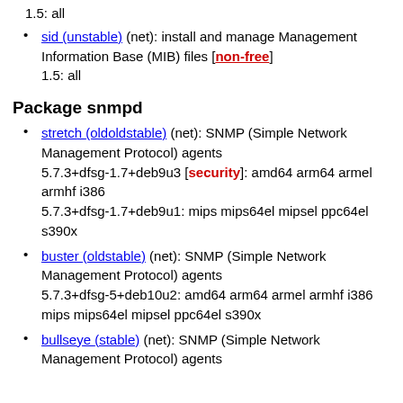1.5: all
sid (unstable) (net): install and manage Management Information Base (MIB) files [non-free]
1.5: all
Package snmpd
stretch (oldoldstable) (net): SNMP (Simple Network Management Protocol) agents
5.7.3+dfsg-1.7+deb9u3 [security]: amd64 arm64 armel armhf i386
5.7.3+dfsg-1.7+deb9u1: mips mips64el mipsel ppc64el s390x
buster (oldstable) (net): SNMP (Simple Network Management Protocol) agents
5.7.3+dfsg-5+deb10u2: amd64 arm64 armel armhf i386 mips mips64el mipsel ppc64el s390x
bullseye (stable) (net): SNMP (Simple Network Management Protocol) agents